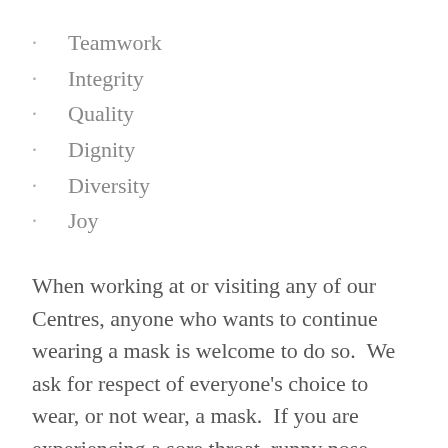Teamwork
Integrity
Quality
Dignity
Diversity
Joy
When working at or visiting any of our Centres, anyone who wants to continue wearing a mask is welcome to do so.  We ask for respect of everyone’s choice to wear, or not wear, a mask.  If you are experiencing a sore throat, runny nose, cough, or COVID-like symptoms that are not related to a pre-existing condition, masks are to be worn. We thank everyone for their ongoing support and for working